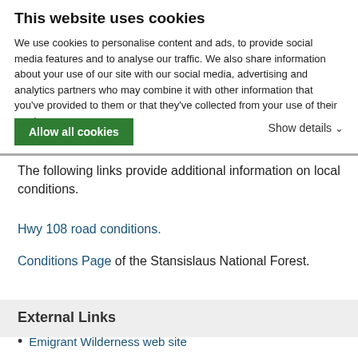This website uses cookies
We use cookies to personalise content and ads, to provide social media features and to analyse our traffic. We also share information about your use of our site with our social media, advertising and analytics partners who may combine it with other information that you've provided to them or that they've collected from your use of their services.
Allow all cookies
Show details
The following links provide additional information on local conditions.
Hwy 108 road conditions.
Conditions Page of the Stansislaus National Forest.
External Links
Emigrant Wilderness web site